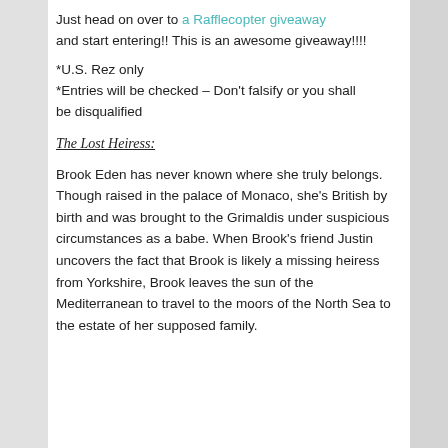Just head on over to a Rafflecopter giveaway and start entering!! This is an awesome giveaway!!!!
*U.S. Rez only
*Entries will be checked – Don't falsify or you shall be disqualified
The Lost Heiress:
Brook Eden has never known where she truly belongs. Though raised in the palace of Monaco, she's British by birth and was brought to the Grimaldis under suspicious circumstances as a babe. When Brook's friend Justin uncovers the fact that Brook is likely a missing heiress from Yorkshire, Brook leaves the sun of the Mediterranean to travel to the moors of the North Sea to the estate of her supposed family.